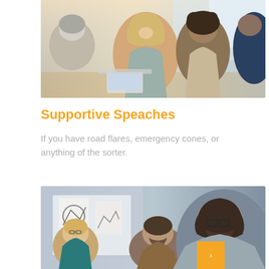[Figure (photo): Group of people in a business meeting, smiling and gesturing, seated around a table with laptops]
Supportive Speaches
If you have road flares, emergency cones, or anything of the sorter.
[Figure (photo): Business team in a meeting room, a man with glasses speaking to colleagues, whiteboard visible in background]